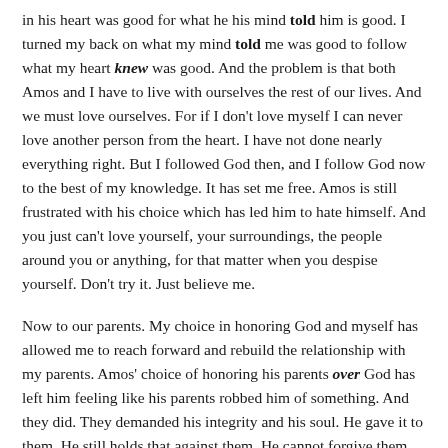in his heart was good for what he his mind told him is good. I turned my back on what my mind told me was good to follow what my heart knew was good. And the problem is that both Amos and I have to live with ourselves the rest of our lives. And we must love ourselves. For if I don't love myself I can never love another person from the heart. I have not done nearly everything right. But I followed God then, and I follow God now to the best of my knowledge. It has set me free. Amos is still frustrated with his choice which has led him to hate himself. And you just can't love yourself, your surroundings, the people around you or anything, for that matter when you despise yourself. Don't try it. Just believe me.
Now to our parents. My choice in honoring God and myself has allowed me to reach forward and rebuild the relationship with my parents. Amos' choice of honoring his parents over God has left him feeling like his parents robbed him of something. And they did. They demanded his integrity and his soul. He gave it to them. He still holds that against them. He cannot forgive them for this. Even though he was briefly celebrated for his wise choice he developed a deep dislike